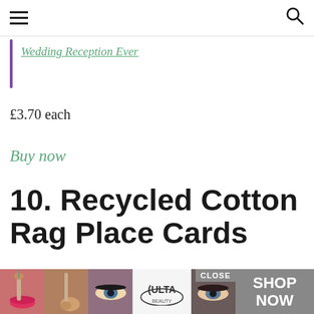Navigation header with hamburger menu and search icon
Wedding Reception Ever
£3.70 each
Buy now
10. Recycled Cotton Rag Place Cards
[Figure (photo): Advertisement banner for ULTA beauty with CLOSE button and SHOP NOW call to action, showing multiple close-up photos of women's faces with makeup]